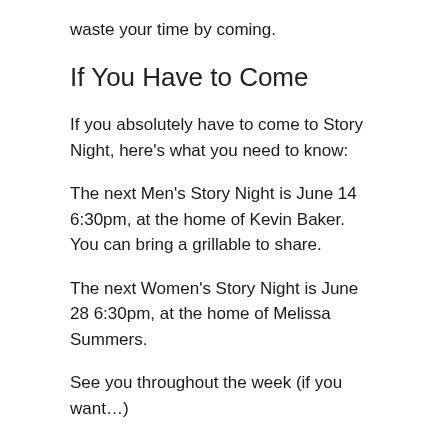waste your time by coming.
If You Have to Come
If you absolutely have to come to Story Night, here's what you need to know:
The next Men's Story Night is June 14 6:30pm, at the home of Kevin Baker. You can bring a grillable to share.
The next Women's Story Night is June 28 6:30pm, at the home of Melissa Summers.
See you throughout the week (if you want…)